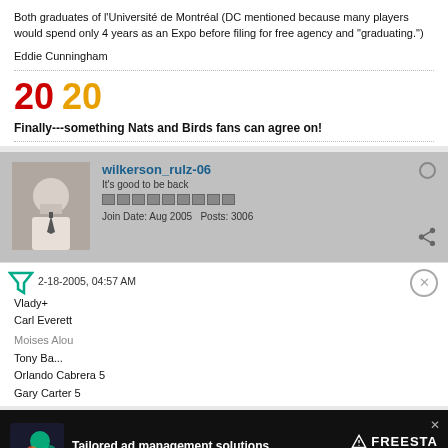Both graduates of l'Université de Montréal (DC mentioned because many players would spend only 4 years as an Expo before filing for free agency and "graduating.")
Eddie Cunningham
20 20
Finally---something Nats and Birds fans can agree on!
wilkerson_rulz-06
It's good to be back
Join Date: Aug 2005    Posts: 3006
2-18-2005, 04:57 AM
Vlady+
Carl Everett
Moises Alou
Tony Ba...
Orlando Cabrera 5
Gary Carter 5
[Figure (infographic): Advertisement banner: Tailored ad management solutions for every publisher — FREESTA with LEARN MORE button]